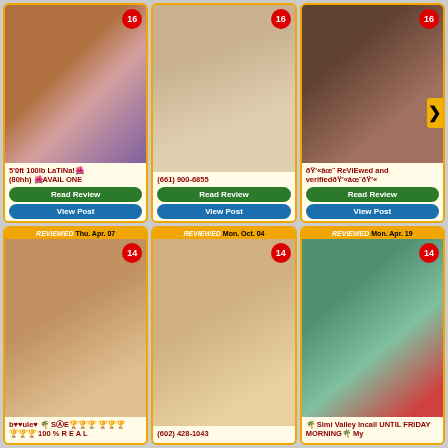[Figure (photo): Grid of 6 escort listing cards, each with a photo, badge number, title/phone text, and Read Review / View Post buttons]
5'0ft 100lb LaTiNa! (80hh) AVAIL ONE
(661) 900-6855
ReViEwed and verified
REVIEWED Thu. Apr. 07 — b♥♥ule♥ 🌴 SⒶE 100 % R E A L
(602) 428-1043
REVIEWED Mon. Apr. 19 — 🌴 Simi Valley Incall UNTIL FRIDAY MORNING My